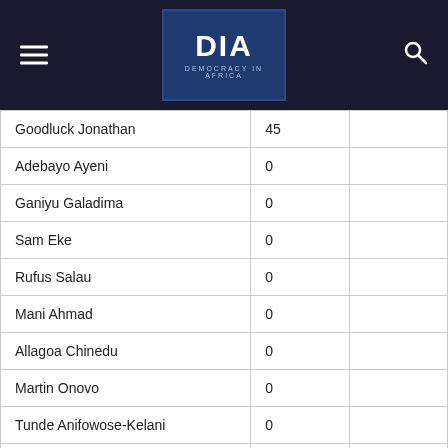DIA Democracy in Africa
| Name | Votes |  |
| --- | --- | --- |
| Goodluck Jonathan | 45 |  |
| Adebayo Ayeni | 0 |  |
| Ganiyu Galadima | 0 |  |
| Sam Eke | 0 |  |
| Rufus Salau | 0 |  |
| Mani Ahmad | 0 |  |
| Allagoa Chinedu | 0 |  |
| Martin Onovo | 0 |  |
| Tunde Anifowose-Kelani | 0 |  |
| Chekwas Okorie | 0 |  |
| Comfort Sonaiya | 0 |  |
| Godson Okoye | 0 |  |
| Ambrose Albert Owuru | 0 |  |